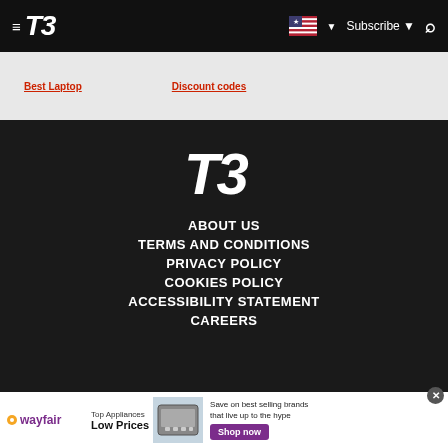T3 — Subscribe
Best Laptop | Discount codes
[Figure (logo): T3 logo in white italic bold font on dark background, centered in footer]
ABOUT US
TERMS AND CONDITIONS
PRIVACY POLICY
COOKIES POLICY
ACCESSIBILITY STATEMENT
CAREERS
[Figure (infographic): Wayfair advertisement banner: wayfair logo, Top Appliances Low Prices text, stove appliance image, Save on best selling brands that live up to the hype, Shop now button]